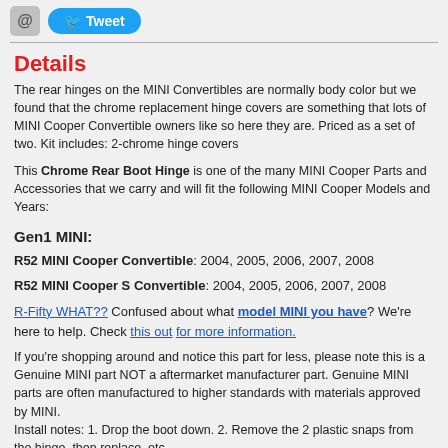[Figure (other): Social sharing buttons: @ icon button and Tweet button with Twitter bird icon]
Details
The rear hinges on the MINI Convertibles are normally body color but we found that the chrome replacement hinge covers are something that lots of MINI Cooper Convertible owners like so here they are. Priced as a set of two. Kit includes: 2-chrome hinge covers
This Chrome Rear Boot Hinge is one of the many MINI Cooper Parts and Accessories that we carry and will fit the following MINI Cooper Models and Years:
Gen1 MINI:
R52 MINI Cooper Convertible: 2004, 2005, 2006, 2007, 2008
R52 MINI Cooper S Convertible: 2004, 2005, 2006, 2007, 2008
R-Fifty WHAT?? Confused about what model MINI you have? We're here to help. Check this out for more information.
If you're shopping around and notice this part for less, please note this is a Genuine MINI part NOT a aftermarket manufacturer part. Genuine MINI parts are often manufactured to higher standards with materials approved by MINI. Install notes: 1. Drop the boot down. 2. Remove the 2 plastic snaps from the hinge, then replace, etc.